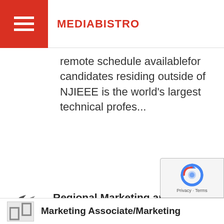MEDIABISTRO
remote schedule availablefor candidates residing outside of NJIEEE is the world's largest technical profes...
Regional Marketing and Communications Manager
New Zealand Trade and Enterprise - Los Angeles, CA USA (14 days ago)
Join our awesome Los Angeles team. Deliver inspiring leadership and program management across events, marketing and communications in North America.
Marketing Associate/Marketing